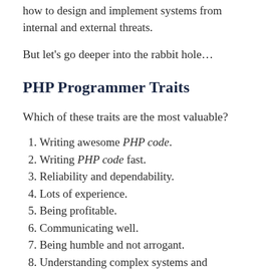how to design and implement systems from internal and external threats.
But let’s go deeper into the rabbit hole…
PHP Programmer Traits
Which of these traits are the most valuable?
Writing awesome PHP code.
Writing PHP code fast.
Reliability and dependability.
Lots of experience.
Being profitable.
Communicating well.
Being humble and not arrogant.
Understanding complex systems and methodologies.